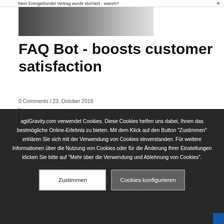Mein Energiebündel Vertrag wurde storniert - warum? +
[Figure (photo): Gradient image placeholder, grey tones from dark left to light right]
FAQ Bot - boosts customer satisfaction
0 Comments / 23. October 2019
John Doe
john.doe@email.com
agilGravity.com verwendet Cookies. Diese Cookies helfen uns dabei, Ihnen das bestmögliche Online-Erlebnis zu bieten. Mit dem Klick auf den Button "Zustimmen" erklären Sie sich mit der Verwendung von Cookies einverstanden. Für weitere Informationen über die Nutzung von Cookies oder für die Änderung Ihrer Einstellungen klicken Sie bitte auf "Mehr über die Verwendung und Ablehnung von Cookies".
Zustimmen
Cookies konfigurieren